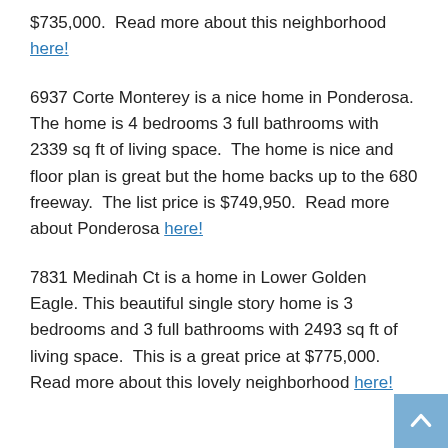$735,000.  Read more about this neighborhood here!
6937 Corte Monterey is a nice home in Ponderosa. The home is 4 bedrooms 3 full bathrooms with 2339 sq ft of living space.  The home is nice and floor plan is great but the home backs up to the 680 freeway.  The list price is $749,950.  Read more about Ponderosa here!
7831 Medinah Ct is a home in Lower Golden Eagle. This beautiful single story home is 3 bedrooms and 3 full bathrooms with 2493 sq ft of living space.  This is a great price at $775,000.  Read more about this lovely neighborhood here!